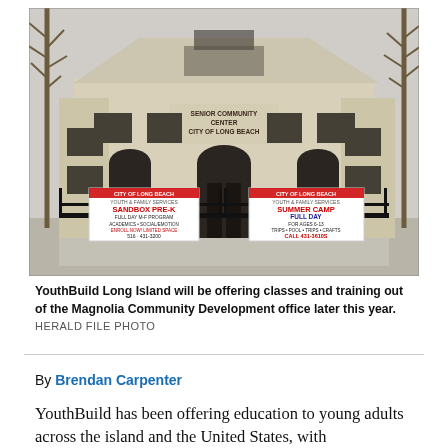[Figure (photo): Exterior photograph of the Senior Community Center, City of Long Beach building. A two-story beige/cream masonry building with arched doorways and a gabled roof. Bare trees visible on either side. Signs on a black iron fence in front read 'SANDBOX PRE-K' and 'SUMMER CAMP FULL DAY, CALL 431-3610S'.]
YouthBuild Long Island will be offering classes and training out of the Magnolia Community Development office later this year.
HERALD FILE PHOTO
By Brendan Carpenter
YouthBuild has been offering education to young adults across the island and the United States, with